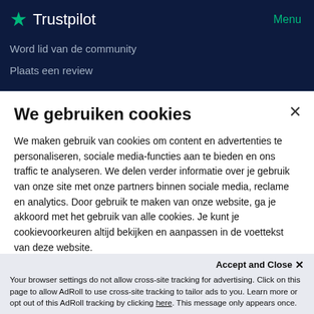Trustpilot   Menu
Word lid van de community
Plaats een review
We gebruiken cookies
We maken gebruik van cookies om content en advertenties te personaliseren, sociale media-functies aan te bieden en ons traffic te analyseren. We delen verder informatie over je gebruik van onze site met onze partners binnen sociale media, reclame en analytics. Door gebruik te maken van onze website, ga je akkoord met het gebruik van alle cookies. Je kunt je cookievoorkeuren altijd bekijken en aanpassen in de voettekst van deze website.
Accept and Close ×
Your browser settings do not allow cross-site tracking for advertising. Click on this page to allow AdRoll to use cross-site tracking to tailor ads to you. Learn more or opt out of this AdRoll tracking by clicking here. This message only appears once.